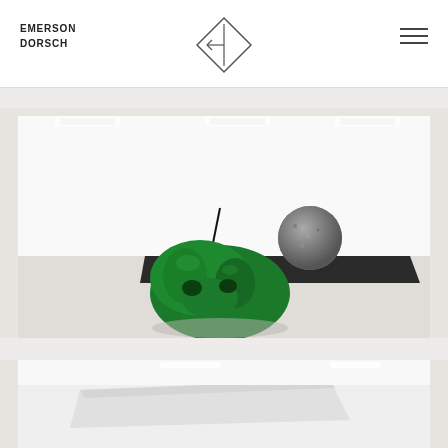EMERSON DORSCH
[Figure (logo): Diamond/rhombus shaped logo with an arrow pointing left and a vertical line inside, outline style]
[Figure (photo): Gallery installation view showing a large green abstract sculptural form in the foreground, a dark flat rectangular platform in the middle ground with a thin rod, and a large granite or stone sphere on the platform, set in a white gallery space with fluorescent ceiling lights]
[Figure (photo): Partial view of another gallery installation, showing what appears to be a white or light-colored flat rectangular form on the floor of a white gallery space]